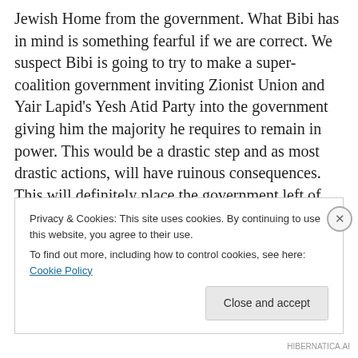Jewish Home from the government. What Bibi has in mind is something fearful if we are correct. We suspect Bibi is going to try to make a super-coalition government inviting Zionist Union and Yair Lapid's Yesh Atid Party into the government giving him the majority he requires to remain in power. This would be a drastic step and as most drastic actions, will have ruinous consequences. This will definitely place the government left of center and out of step with the Israeli people. Should Netanyahu actually do such a move, we might be witnessing another Sharon style capitulation to the leftist demands for Israel
Privacy & Cookies: This site uses cookies. By continuing to use this website, you agree to their use.
To find out more, including how to control cookies, see here: Cookie Policy
Close and accept